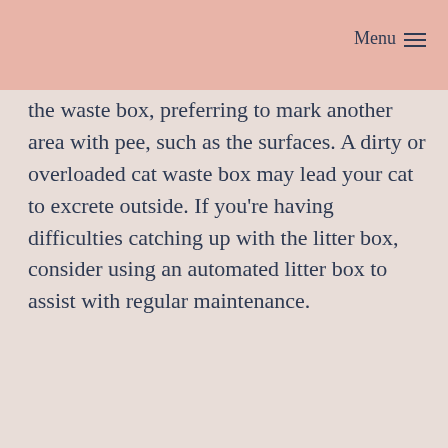Menu
the waste box, preferring to mark another area with pee, such as the surfaces. A dirty or overloaded cat waste box may lead your cat to excrete outside. If you're having difficulties catching up with the litter box, consider using an automated litter box to assist with regular maintenance.